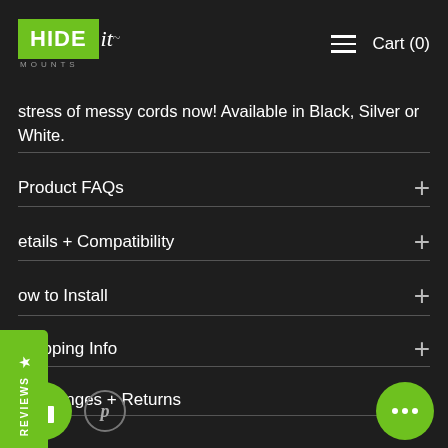[Figure (screenshot): HIDEit Mounts logo in green box with italic script and MOUNTS text below, navigation hamburger menu and Cart (0) in top header]
stress of messy cords now! Available in Black, Silver or White.
Product FAQs
etails + Compatibility
ow to Install
Shipping Info
Exchanges + Returns
[Figure (other): REVIEWS vertical tab on left side in green, star icon above REVIEWS text]
[Figure (other): Bottom icons: green gift circle, Pinterest circle icon, and green chat bubble circle on right]